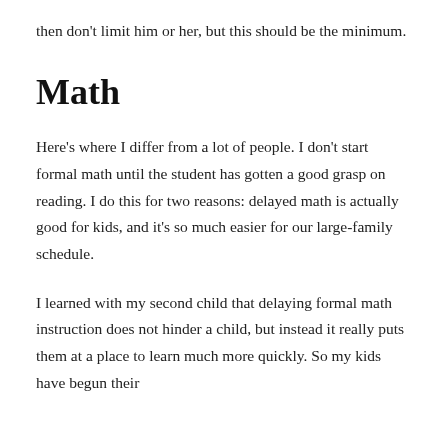then don't limit him or her, but this should be the minimum.
Math
Here's where I differ from a lot of people. I don't start formal math until the student has gotten a good grasp on reading. I do this for two reasons: delayed math is actually good for kids, and it's so much easier for our large-family schedule.
I learned with my second child that delaying formal math instruction does not hinder a child, but instead it really puts them at a place to learn much more quickly. So my kids have begun their